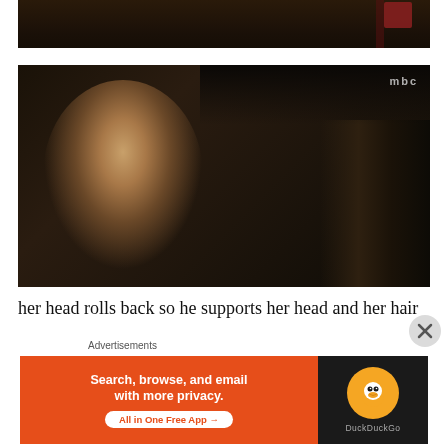[Figure (screenshot): Top portion of a TV drama screenshot, dark scene with warm tones and a red/pink accent in upper right corner]
[Figure (screenshot): MBC Korean TV drama screenshot showing a young man with dark hair looking intently at a woman whose back is to the camera. MBC logo visible in upper right.]
her head rolls back so he supports her head and her hair
Advertisements
[Figure (screenshot): DuckDuckGo advertisement banner: orange left panel reading 'Search, browse, and email with more privacy. All in One Free App' and dark right panel with DuckDuckGo logo]